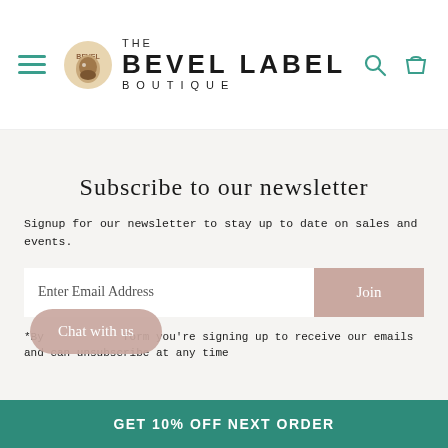[Figure (logo): The Bevel Label Boutique logo with hamburger menu icon and search/cart icons in teal]
Subscribe to our newsletter
Signup for our newsletter to stay up to date on sales and events.
Enter Email Address
Join
*By submitting this form you're signing up to receive our emails and can unsubscribe at any time
Chat with us
GET 10% OFF NEXT ORDER